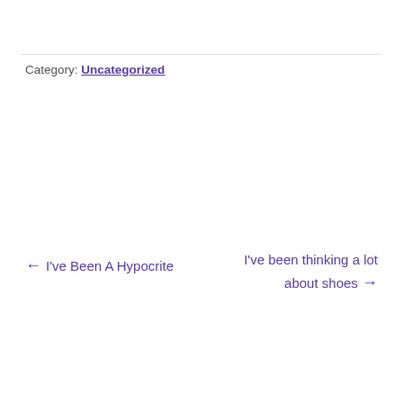Category: Uncategorized
← I've Been A Hypocrite
I've been thinking a lot about shoes →
Leave a Reply
Your email address will not be published. Required fields are marked *